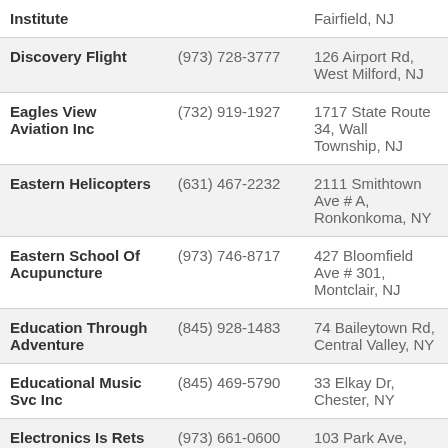| Name | Phone | Address |
| --- | --- | --- |
| Institute |  | Fairfield, NJ |
| Discovery Flight | (973) 728-3777 | 126 Airport Rd, West Milford, NJ |
| Eagles View Aviation Inc | (732) 919-1927 | 1717 State Route 34, Wall Township, NJ |
| Eastern Helicopters | (631) 467-2232 | 2111 Smithtown Ave # A, Ronkonkoma, NY |
| Eastern School Of Acupuncture | (973) 746-8717 | 427 Bloomfield Ave # 301, Montclair, NJ |
| Education Through Adventure | (845) 928-1483 | 74 Baileytown Rd, Central Valley, NY |
| Educational Music Svc Inc | (845) 469-5790 | 33 Elkay Dr, Chester, NY |
| Electronics Is Rets | (973) 661-0600 | 103 Park Ave, Nutley, NJ |
| Elite Academy | (201) 568-0555 | 190 Sylvan Ave # D, Englewood Cliffs, NJ |
| Essex Valley School | (973) 244-7890 | 1 Henderson Dr |